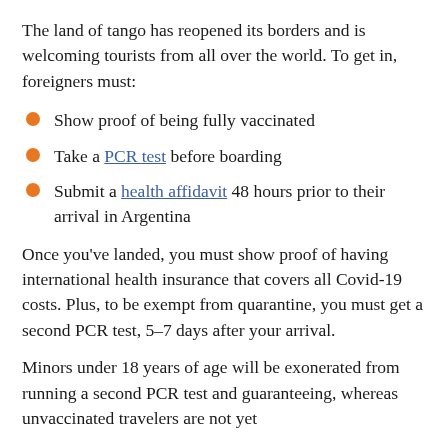The land of tango has reopened its borders and is welcoming tourists from all over the world. To get in, foreigners must:
Show proof of being fully vaccinated
Take a PCR test before boarding
Submit a health affidavit 48 hours prior to their arrival in Argentina
Once you've landed, you must show proof of having international health insurance that covers all Covid-19 costs. Plus, to be exempt from quarantine, you must get a second PCR test, 5–7 days after your arrival.
Minors under 18 years of age will be exonerated from running a second PCR test and guaranteeing, whereas unvaccinated travelers are not yet